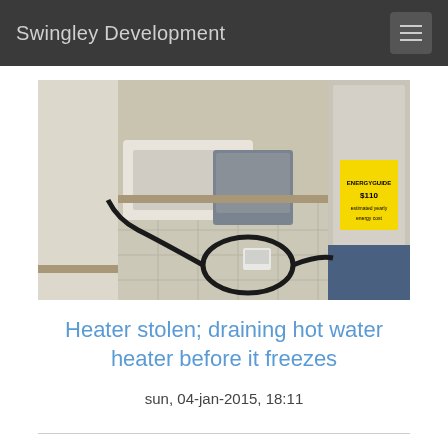Swingley Development
[Figure (photo): Interior photo showing a utility/laundry area with a large water heater tank on the right (with yellow energy guide label), a gray plastic bin in the center, a black hose coiled on the tiled floor, a small white box/device on the floor, and a bathtub visible in the background left.]
Heater stolen; draining hot water heater before it freezes
sun, 04-jan-2015, 18:11